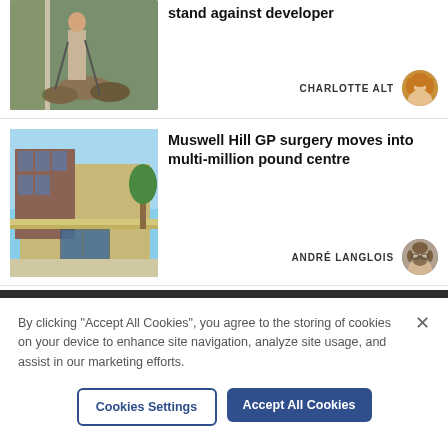[Figure (photo): Partial photo of a person standing outdoors with garden tools, rocks visible, top of a news article card]
stand against developer
CHARLOTTE ALT
[Figure (photo): Author avatar of Charlotte Alt, woman with blonde hair]
[Figure (photo): Photo of Muswell Hill GP surgery building exterior, modern brick and glass structure with canopy entrance]
Muswell Hill GP surgery moves into multi-million pound centre
ANDRÉ LANGLOIS
[Figure (photo): Author avatar of André Langlois, man with beard and glasses]
By clicking "Accept All Cookies", you agree to the storing of cookies on your device to enhance site navigation, analyze site usage, and assist in our marketing efforts.
Cookies Settings
Accept All Cookies